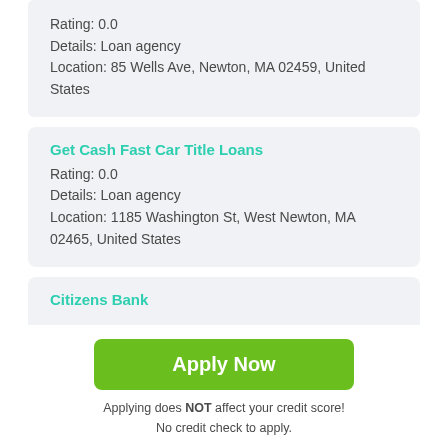Rating: 0.0
Details: Loan agency
Location: 85 Wells Ave, Newton, MA 02459, United States
Get Cash Fast Car Title Loans
Rating: 0.0
Details: Loan agency
Location: 1185 Washington St, West Newton, MA 02465, United States
Citizens Bank
Apply Now
Applying does NOT affect your credit score!
No credit check to apply.